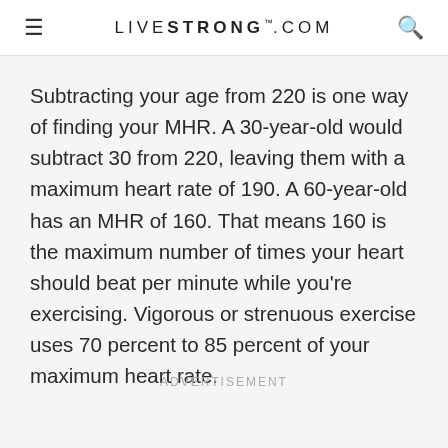LIVESTRONG.COM
Subtracting your age from 220 is one way of finding your MHR. A 30-year-old would subtract 30 from 220, leaving them with a maximum heart rate of 190. A 60-year-old has an MHR of 160. That means 160 is the maximum number of times your heart should beat per minute while you're exercising. Vigorous or strenuous exercise uses 70 percent to 85 percent of your maximum heart rate.
Advertisement